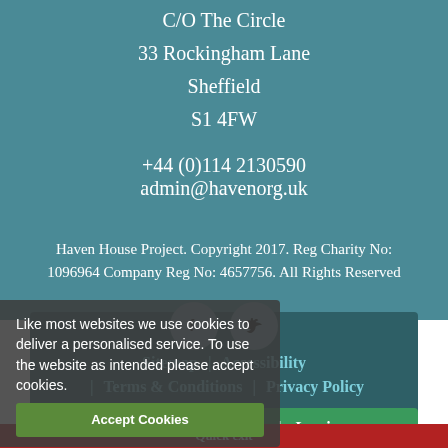C/O The Circle
33 Rockingham Lane
Sheffield
S1 4FW
+44 (0)114 2130590
admin@havenorg.uk
Haven House Project. Copyright 2017. Reg Charity No: 1096964 Company Reg No: 4657756. All Rights Reserved
[Figure (other): Social media icons: Facebook and Twitter circles]
Sitemap | Accessibility | Terms & Conditions | Privacy Policy
| Staying safe online | Log in
Quick exit
Like most websites we use cookies to deliver a personalised service. To use the website as intended please accept cookies.